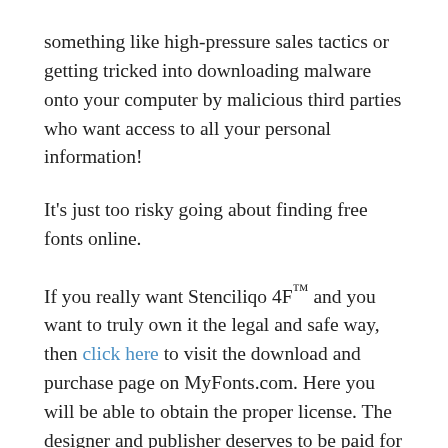something like high-pressure sales tactics or getting tricked into downloading malware onto your computer by malicious third parties who want access to all your personal information!
It's just too risky going about finding free fonts online.
If you really want Stenciliqo 4F™ and you want to truly own it the legal and safe way, then click here to visit the download and purchase page on MyFonts.com. Here you will be able to obtain the proper license. The designer and publisher deserves to be paid for their work, as they have put in the hours and the creativity to produce such an amazing font. Good luck with your purchase and future use of this font. :)